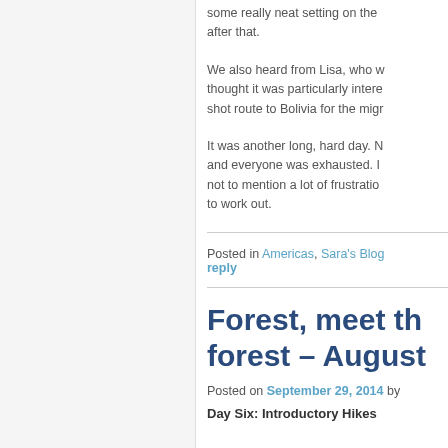some really neat setting on the ... after that.
We also heard from Lisa, who w... thought it was particularly intere... shot route to Bolivia for the migr...
It was another long, hard day. N... and everyone was exhausted. I... not to mention a lot of frustratio... to work out.
Posted in Americas, Sara's Blog ... reply
Forest, meet th forest – August
Posted on September 29, 2014 by
Day Six: Introductory Hikes